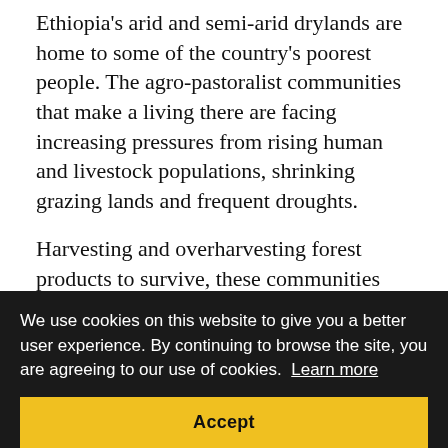Ethiopia's arid and semi-arid drylands are home to some of the country's poorest people. The agro-pastoralist communities that make a living there are facing increasing pressures from rising human and livestock populations, shrinking grazing lands and frequent droughts.

Harvesting and overharvesting forest products to survive, these communities are unintentionally driving land degradation and desertification. The likelihood of this trap worsening is resource-constrained communities not having sustainable.

But contrary to a general perception that drylands are resource-poor, the forests and woodlands that exist there can be highly productive,

important contributors to human welfare and environmental health. They provide livelihoods and
We use cookies on this website to give you a better user experience. By continuing to browse the site, you are agreeing to our use of cookies.  Learn more
Accept